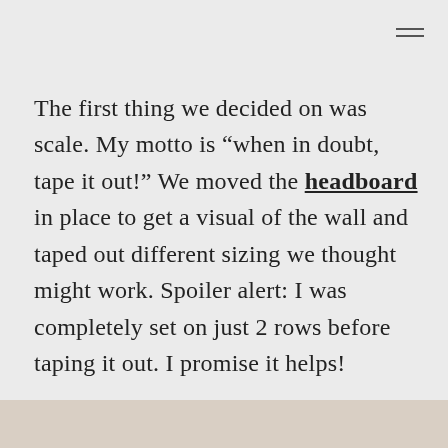The first thing we decided on was scale. My motto is “when in doubt, tape it out!” We moved the headboard in place to get a visual of the wall and taped out different sizing we thought might work. Spoiler alert: I was completely set on just 2 rows before taping it out. I promise it helps!
[Figure (photo): Bottom strip showing partial view of a photo, light beige/cream tones]